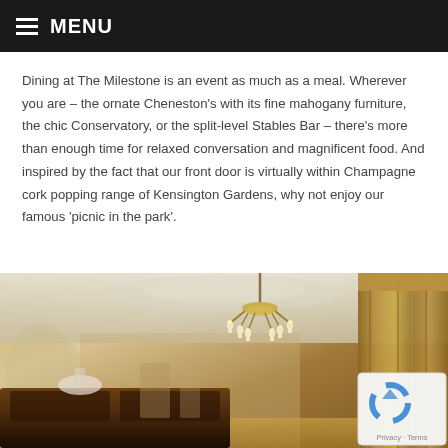MENU
Dining at The Milestone is an event as much as a meal. Wherever you are – the ornate Cheneston's with its fine mahogany furniture, the chic Conservatory, or the split-level Stables Bar – there's more than enough time for relaxed conversation and magnificent food. And inspired by the fact that our front door is virtually within Champagne cork popping range of Kensington Gardens, why not enjoy our famous 'picnic in the park'.
[Figure (photo): Interior of The Milestone dining room showing an ornate chandelier hanging from a decorated ceiling, gold/olive curtains on the right, and dark mahogany furniture in the foreground.]